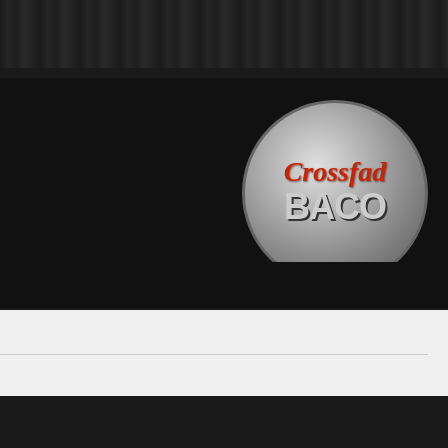[Figure (screenshot): Social media icon bar with Twitter (blue bird), Facebook (blue f), Last.fm (grey), Tumblr (dark blue t), SoundCloud (orange cloud), YouTube (red)]
[Figure (screenshot): Green gradient 'Follow this tumblr.' button with plus icon]
[Figure (logo): Circular metallic badge with red script text and grey block letters reading 'Crossfader Bacon' style logo]
1ST & 15TH MIXCAS...
Archive for Fede...
@FEDERA...
October 19, 2011 / en...